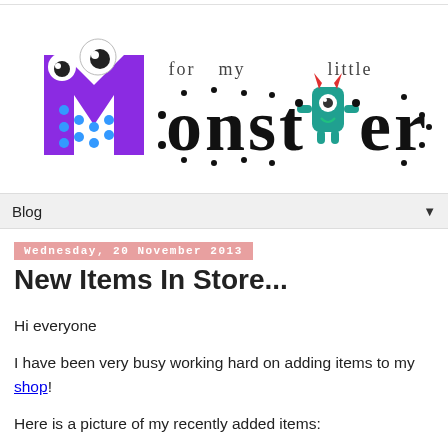[Figure (logo): For My Little Monster blog logo with colorful monster characters forming the word 'Monster']
Blog ▼
Wednesday, 20 November 2013
New Items In Store...
Hi everyone
I have been very busy working hard on adding items to my shop!
Here is a picture of my recently added items: